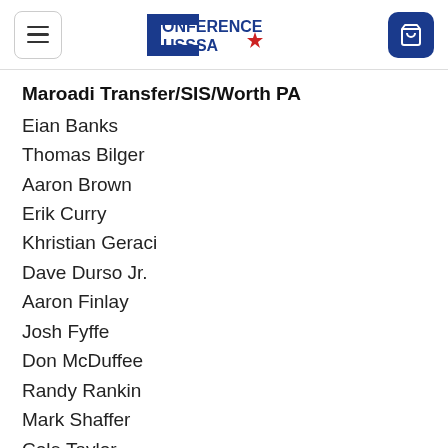Conference USSSA
Maroadi Transfer/SIS/Worth PA
Eian Banks
Thomas Bilger
Aaron Brown
Erik Curry
Khristian Geraci
Dave Durso Jr.
Aaron Finlay
Josh Fyffe
Don McDuffee
Randy Rankin
Mark Shaffer
Cole Taylor
Clair Traxler